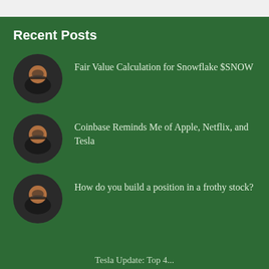Recent Posts
Fair Value Calculation for Snowflake $SNOW
Coinbase Reminds Me of Apple, Netflix, and Tesla
How do you build a position in a frothy stock?
Tesla Update: Top 4...